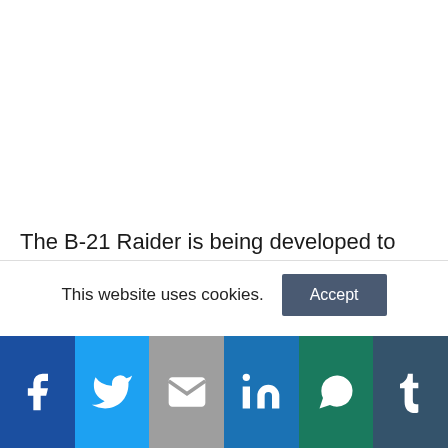The B-21 Raider is being developed to replace the Air Force's aging B-1 Lancer and the B-2 Spirit
This website uses cookies. Accept